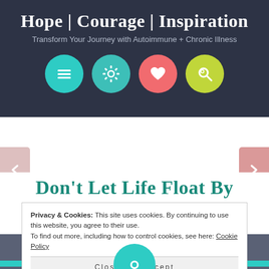Hope | Courage | Inspiration
Transform Your Journey with Autoimmune + Chronic Illness
[Figure (illustration): Four circular navigation icons in a row: teal circle with hamburger menu lines, teal circle with gear/settings icon, coral/red circle with heart icon, lime green circle with magnifying glass search icon]
[Figure (illustration): Website slider section with dark gray background, a teal horizontal bar, and a large teal circle containing a small white circle in the center. Pink left arrow and pink right arrow navigation buttons on sides.]
Don’t Let Life Float By
Privacy & Cookies: This site uses cookies. By continuing to use this website, you agree to their use.
To find out more, including how to control cookies, see here: Cookie Policy
Close and accept